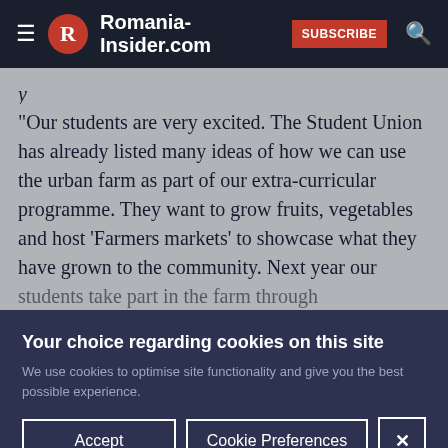Romania-Insider.com | SUBSCRIBE
“Our students are very excited. The Student Union has already listed many ideas of how we can use the urban farm as part of our extra-curricular programme. They want to grow fruits, vegetables and host ‘Farmers markets’ to showcase what they have grown to the community. Next year our
Your choice regarding cookies on this site
We use cookies to optimise site functionality and give you the best possible experience.
Accept | Cookie Preferences | X